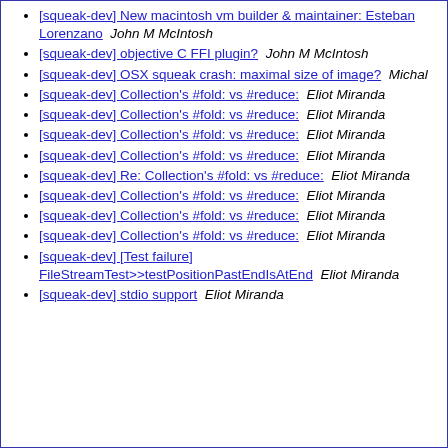[squeak-dev] New macintosh vm builder & maintainer: Esteban Lorenzano  John M McIntosh
[squeak-dev] objective C FFI plugin?  John M McIntosh
[squeak-dev] OSX squeak crash: maximal size of image?  Michal
[squeak-dev] Collection's #fold: vs #reduce:  Eliot Miranda
[squeak-dev] Collection's #fold: vs #reduce:  Eliot Miranda
[squeak-dev] Collection's #fold: vs #reduce:  Eliot Miranda
[squeak-dev] Collection's #fold: vs #reduce:  Eliot Miranda
[squeak-dev] Re: Collection's #fold: vs #reduce:  Eliot Miranda
[squeak-dev] Collection's #fold: vs #reduce:  Eliot Miranda
[squeak-dev] Collection's #fold: vs #reduce:  Eliot Miranda
[squeak-dev] Collection's #fold: vs #reduce:  Eliot Miranda
[squeak-dev] [Test failure] FileStreamTest>>testPositionPastEndIsAtEnd  Eliot Miranda
[squeak-dev] stdio support  Eliot Miranda